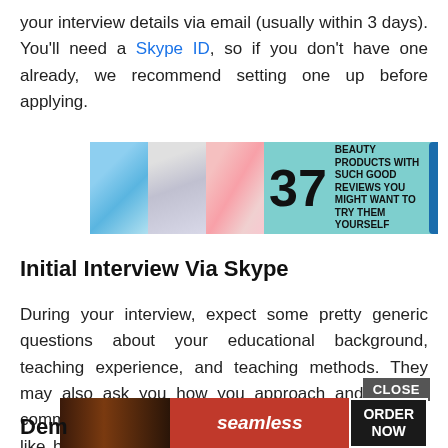your interview details via email (usually within 3 days). You'll need a Skype ID, so if you don't have one already, we recommend setting one up before applying.
[Figure (screenshot): Advertisement banner showing beauty products with text '37 BEAUTY PRODUCTS WITH SUCH GOOD REVIEWS YOU MIGHT WANT TO TRY THEM YOURSELF']
Initial Interview Via Skype
During your interview, expect some pretty generic questions about your educational background, teaching experience, and teaching methods. They may also ask you how you approach and resolve common problems that occur with online teaching, like how you would handle a shy student, and what made you apply to Boxfish. The trick is to be prepared and allow your personality to come across as much as possible.
[Figure (screenshot): Seamless food delivery advertisement with pizza image and ORDER NOW button with CLOSE button overlay]
Dem